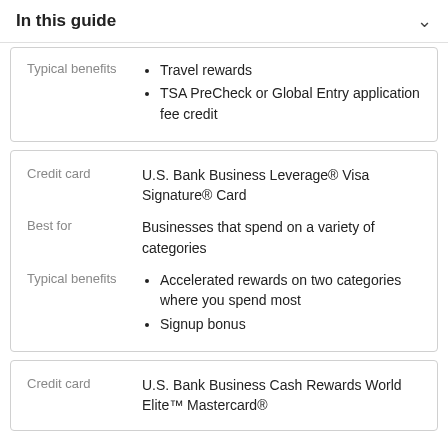In this guide
|  |  |
| --- | --- |
| Typical benefits | Travel rewards
TSA PreCheck or Global Entry application fee credit |
|  |  |
| --- | --- |
| Credit card | U.S. Bank Business Leverage® Visa Signature® Card |
| Best for | Businesses that spend on a variety of categories |
| Typical benefits | Accelerated rewards on two categories where you spend most
Signup bonus |
|  |  |
| --- | --- |
| Credit card | U.S. Bank Business Cash Rewards World Elite™ Mastercard® |